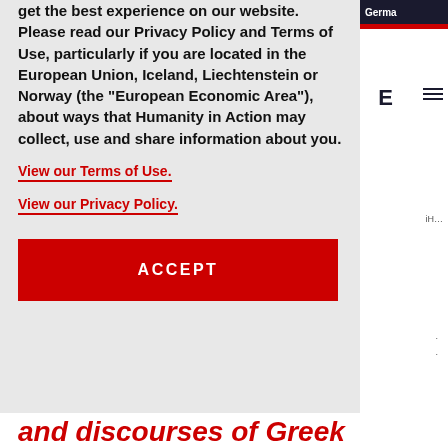get the best experience on our website. Please read our Privacy Policy and Terms of Use, particularly if you are located in the European Union, Iceland, Liechtenstein or Norway (the “European Economic Area”), about ways that Humanity in Action may collect, use and share information about you.
View our Terms of Use.
View our Privacy Policy.
ACCEPT
and discourses of Greek